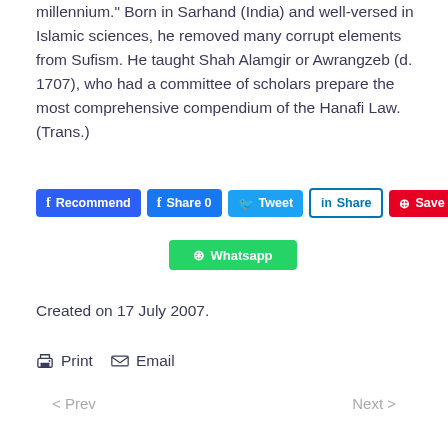millennium." Born in Sarhand (India) and well-versed in Islamic sciences, he removed many corrupt elements from Sufism. He taught Shah Alamgir or Awrangzeb (d. 1707), who had a committee of scholars prepare the most comprehensive compendium of the Hanafi Law. (Trans.)
[Figure (other): Social sharing buttons: Recommend (Facebook), Share 0 (Facebook), Tweet (Twitter), Share (LinkedIn), Save (Pinterest), Whatsapp]
Created on 17 July 2007.
Print  Email
< Prev   Next >